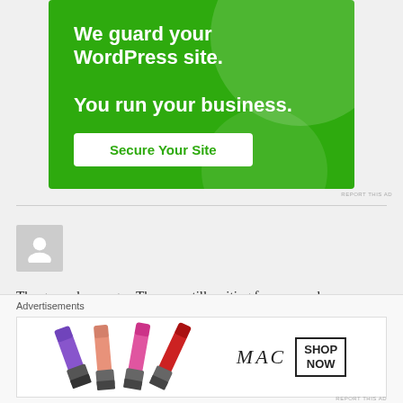[Figure (infographic): Green advertisement banner reading 'We guard your WordPress site. You run your business.' with a 'Secure Your Site' button]
REPORT THIS AD
CARSON
June 14, 2018 / 5:17 pm
The general manager. They are still waiting for approval.
Like
[Figure (infographic): MAC cosmetics advertisement showing lipsticks with 'MAC' logo and 'SHOP NOW' button]
REPORT THIS AD